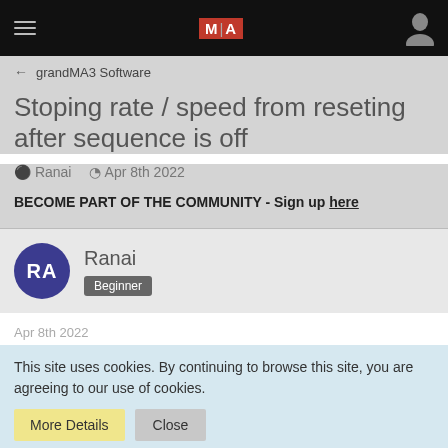MA grandMA3 Software
Stoping rate / speed from reseting after sequence is off
Ranai  Apr 8th 2022
BECOME PART OF THE COMMUNITY - Sign up here
RA  Ranai  Beginner
Apr 8th 2022
This site uses cookies. By continuing to browse this site, you are agreeing to our use of cookies.